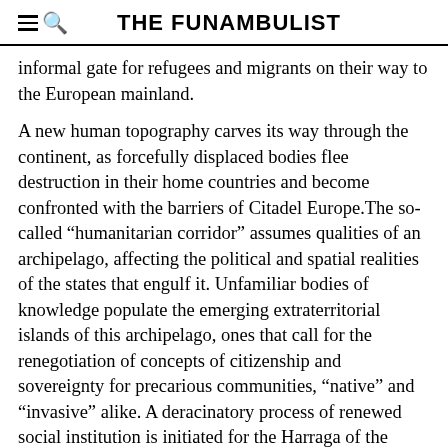THE FUNAMBULIST
informal gate for refugees and migrants on their way to the European mainland.
A new human topography carves its way through the continent, as forcefully displaced bodies flee destruction in their home countries and become confronted with the barriers of Citadel Europe.The so-called “humanitarian corridor” assumes qualities of an archipelago, affecting the political and spatial realities of the states that engulf it. Unfamiliar bodies of knowledge populate the emerging extraterritorial islands of this archipelago, ones that call for the renegotiation of concepts of citizenship and sovereignty for precarious communities, “native” and “invasive” alike. A deracinatory process of renewed social institution is initiated for the Harraga of the